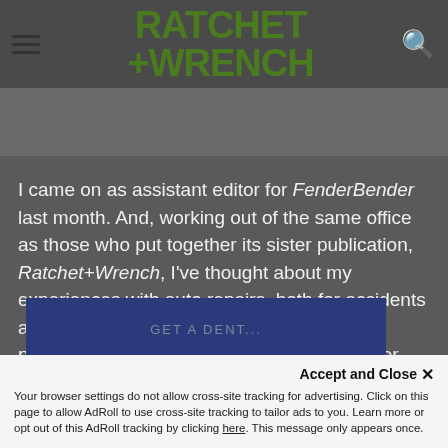RATCHET+WRENCH
[Figure (photo): Blurred gray banner image strip]
I came on as assistant editor for FenderBender last month. And, working out of the same office as those who put together its sister publication, Ratchet+Wrench, I've thought about my experiences with auto repairs, both for accidents and mechanical, putting them into new perspectives based on what I've learned over the past four weeks.
[Figure (photo): Partial blue image at bottom, partially visible, appears to show text 'GET A DENT...']
Accept and Close ✕
Your browser settings do not allow cross-site tracking for advertising. Click on this page to allow AdRoll to use cross-site tracking to tailor ads to you. Learn more or opt out of this AdRoll tracking by clicking here. This message only appears once.